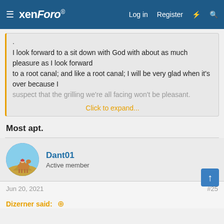xenForo® Log in Register
. I look forward to a sit down with God with about as much pleasure as I look forward to a root canal; and like a root canal; I will be very glad when it's over because I suspect that the grilling we're all facing won't be pleasant.
Click to expand...
Most apt.
Dant01
Active member
Jun 20, 2021
#25
Dizerner said: